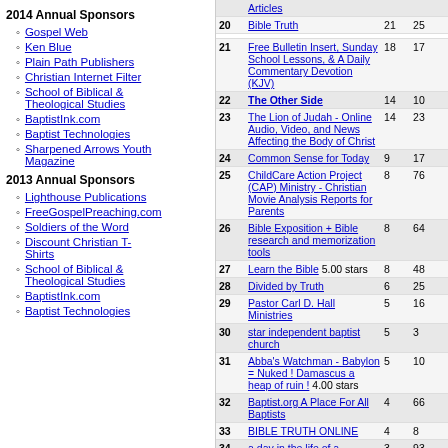2014 Annual Sponsors
Gospel Web
Ken Blue
Plain Path Publishers
Christian Internet Filter
School of Biblical & Theological Studies
BaptistInk.com
Baptist Technologies
Sharpened Arrows Youth Magazine
2013 Annual Sponsors
Lighthouse Publications
FreeGospelPreaching.com
Soldiers of the Word
Discount Christian T-Shirts
School of Biblical & Theological Studies
BaptistInk.com
Baptist Technologies
| # | Site | Col3 | Col4 |
| --- | --- | --- | --- |
|  | Articles |  |  |
| 20 | Bible Truth | 21 | 25 |
| 21 | Free Bulletin Insert, Sunday School Lessons, & A Daily Commentary Devotion (KJV) | 18 | 17 |
| 22 | The Other Side | 14 | 10 |
| 23 | The Lion of Judah - Online Audio, Video, and News Affecting the Body of Christ | 14 | 23 |
| 24 | Common Sense for Today | 9 | 17 |
| 25 | ChildCare Action Project (CAP) Ministry - Christian Movie Analysis Reports for Parents | 8 | 76 |
| 26 | Bible Exposition + Bible research and memorization tools | 8 | 64 |
| 27 | Learn the Bible 5.00 stars | 8 | 48 |
| 28 | Divided by Truth | 6 | 25 |
| 29 | Pastor Carl D. Hall Ministries | 5 | 16 |
| 30 | star independent baptist church | 5 | 3 |
| 31 | Abba's Watchman - Babylon = Nuked ! Damascus a heap of ruin ! 4.00 stars | 5 | 10 |
| 32 | Baptist.org A Place For All Baptists | 4 | 66 |
| 33 | BIBLE TRUTH ONLINE | 4 | 8 |
| 34 | a day in the life of a missionary wife | 3 | 93 |
| 35 | Revival Baptist Church (With Prophesy Watch) | 3 | 41 |
| 36 | LIBERTY BAPTIST CHURCH HEAD FUNDAMENTA... | 3 | 37 |